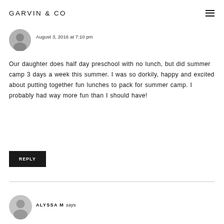GARVIN & CO
August 3, 2016 at 7:10 pm
Our daughter does half day preschool with no lunch, but did summer camp 3 days a week this summer. I was so dorkily, happy and excited about putting together fun lunches to pack for summer camp. I probably had way more fun than I should have!
REPLY
ALYSSA M says